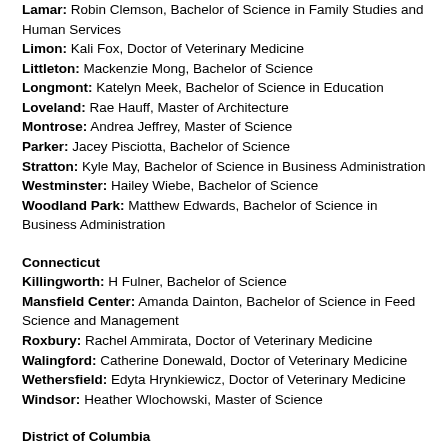Lamar: Robin Clemson, Bachelor of Science in Family Studies and Human Services
Limon: Kali Fox, Doctor of Veterinary Medicine
Littleton: Mackenzie Mong, Bachelor of Science
Longmont: Katelyn Meek, Bachelor of Science in Education
Loveland: Rae Hauff, Master of Architecture
Montrose: Andrea Jeffrey, Master of Science
Parker: Jacey Pisciotta, Bachelor of Science
Stratton: Kyle May, Bachelor of Science in Business Administration
Westminster: Hailey Wiebe, Bachelor of Science
Woodland Park: Matthew Edwards, Bachelor of Science in Business Administration
Connecticut
Killingworth: H Fulner, Bachelor of Science
Mansfield Center: Amanda Dainton, Bachelor of Science in Feed Science and Management
Roxbury: Rachel Ammirata, Doctor of Veterinary Medicine
Walingford: Catherine Donewald, Doctor of Veterinary Medicine
Wethersfield: Edyta Hrynkiewicz, Doctor of Veterinary Medicine
Windsor: Heather Wlochowski, Master of Science
District of Columbia
Washington: Charles Spencer, Bachelor of Science